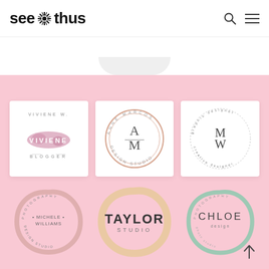see*thus
[Figure (logo): Six circular/square logo designs on pink background: 1) Viviene W. Blogger watercolor square logo, 2) Anne Marcos Design Studio circular logo AM monogram in rose gold, 3) MW circular dotted logo with teal watercolor, 4) Michele Williams Photography Design Studio circular rose pink brush logo, 5) Taylor Studio circular tan/cream brush logo, 6) Chloe design photography circular teal watercolor logo]